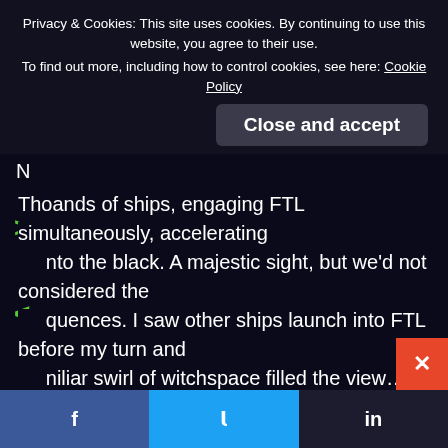Privacy & Cookies: This site uses cookies. By continuing to use this website, you agree to their use. To find out more, including how to control cookies, see here: Cookie Policy
Close and accept
N
Thousands of ships, engaging FTL simultaneously, accelerating into the black. A majestic sight, but we'd not considered the consequences. I saw other ships launch into FTL before my turn and the familiar swirl of witchspace filled the view… but then things started going badly wrong.
t entirely sure what happened next. I remember hearing calls ommanders over the open frequencies sounding shocked… then the Temeraire's nav computer overloaded and died.
The ship seemed to surge forward and shake violently as the drive started making noises that i'd never heard it make before!
f   t   in